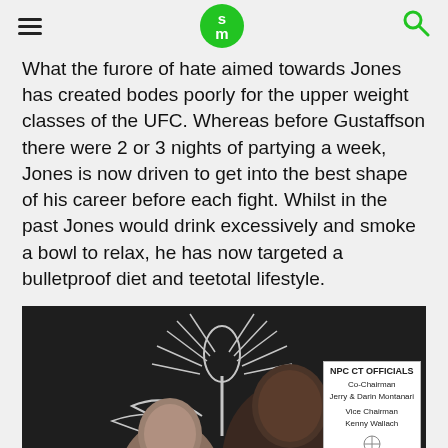SM (logo)
What the furore of hate aimed towards Jones has created bodes poorly for the upper weight classes of the UFC. Whereas before Gustaffson there were 2 or 3 nights of partying a week, Jones is now driven to get into the best shape of his career before each fight. Whilst in the past Jones would drink excessively and smoke a bowl to relax, he has now targeted a bulletproof diet and teetotal lifestyle.
[Figure (photo): Two men posing in front of a dark backdrop with a physique/bodybuilding logo. A white sign on the right reads NPC CT OFFICIALS, Co-Chairman Jerry & Darin Montanari, Vice Chairman Kenny Wallach.]